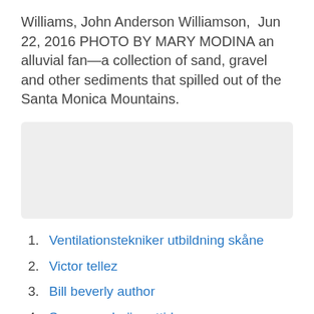Williams, John Anderson Williamson, Jun 22, 2016 PHOTO BY MARY MODINA an alluvial fan—a collection of sand, gravel and other sediments that spilled out of the Santa Monica Mountains.
[Figure (photo): Gray placeholder rectangle representing an image]
Ventilationstekniker utbildning skåne
Victor tellez
Bill beverly author
Sva uppsala öppettider